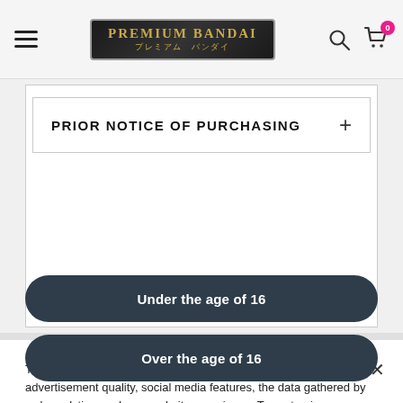Premium Bandai — プレミアム バンダイ — navigation header with hamburger menu, logo, search and cart icons
PRIOR NOTICE OF PURCHASING
This website uses cookies for the purpose of improving advertisement quality, social media features, the data gathered by web analytics, and your website experience. To customize your cookie settings, please click * DO NOT SELL MY PERSONAL INFORMATION*. Privacy Policy.
Under the age of 16
Over the age of 16